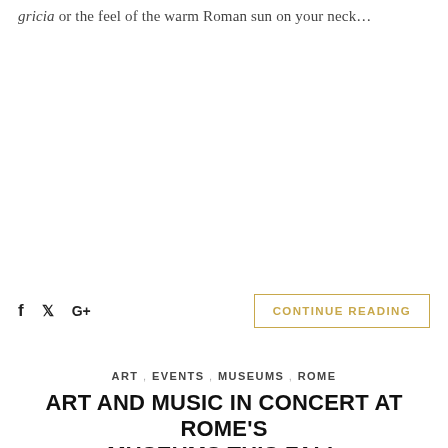gricia or the feel of the warm Roman sun on your neck…
f  ✓  G+   CONTINUE READING
ART , EVENTS , MUSEUMS , ROME
ART AND MUSIC IN CONCERT AT ROME'S MUSEUMS THIS FALL
NOVEMBER 9, 2010   NO COMMENTS
[Figure (photo): Poster for Musei in Musica event: tan/gold ornate background with black banner reading 'DALLE 20.00 ALLE 02.00 MUSEI MUSICA'. Ministry of Cultural Heritage logo in top right corner.]